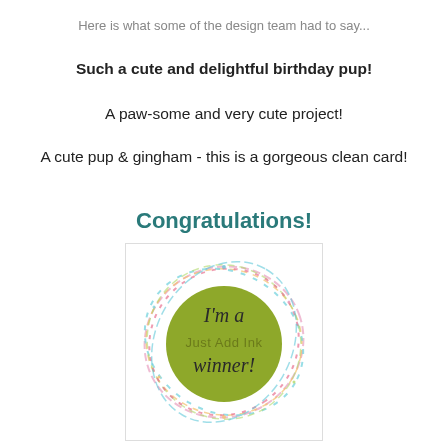Here is what some of the design team had to say...
Such a cute and delightful birthday pup!
A paw-some and very cute project!
A cute pup & gingham - this is a gorgeous clean card!
Congratulations!
[Figure (illustration): Just Add Ink winner badge: colorful swirling circles on white background with olive green circle in center containing cursive text 'I'm a Just Add Ink winner!']